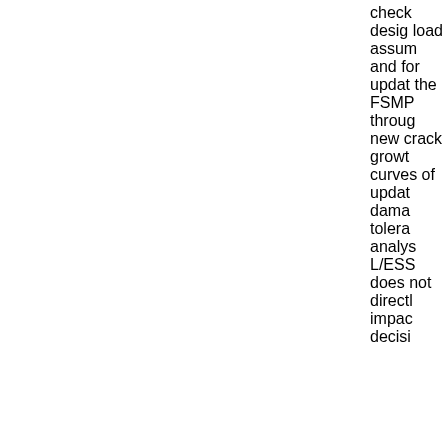check design load assum and for updat the FSMP throug new crack growt curve of updat dama tolera analy L/ESS does not directl impac decisi